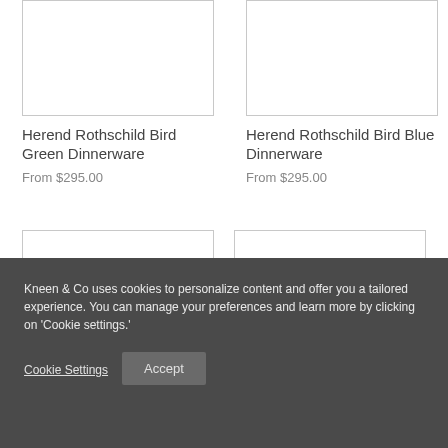[Figure (other): Product image placeholder box for Herend Rothschild Bird Green Dinnerware]
[Figure (other): Product image placeholder box for Herend Rothschild Bird Blue Dinnerware]
Herend Rothschild Bird Green Dinnerware
From $295.00
Herend Rothschild Bird Blue Dinnerware
From $295.00
[Figure (other): Partial product image placeholder box (left), second row]
[Figure (other): Partial product image placeholder box (right), second row]
Kneen & Co uses cookies to personalize content and offer you a tailored experience. You can manage your preferences and learn more by clicking on 'Cookie settings.'
Cookie Settings
Accept